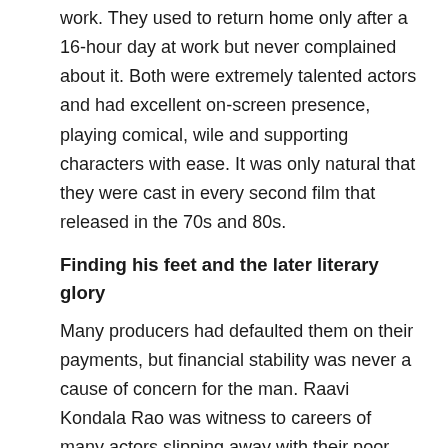work. They used to return home only after a 16-hour day at work but never complained about it. Both were extremely talented actors and had excellent on-screen presence, playing comical, wile and supporting characters with ease. It was only natural that they were cast in every second film that released in the 70s and 80s.
Finding his feet and the later literary glory
Many producers had defaulted them on their payments, but financial stability was never a cause of concern for the man. Raavi Kondala Rao was witness to careers of many actors slipping away with their poor lifestyle and habits; he was very aware of the varying fortunes of the film industry and vouched to never drink, smoke or gamble through his career. As a writer, his short stories had a unique open-ended quality on the lines of O Henry's works.